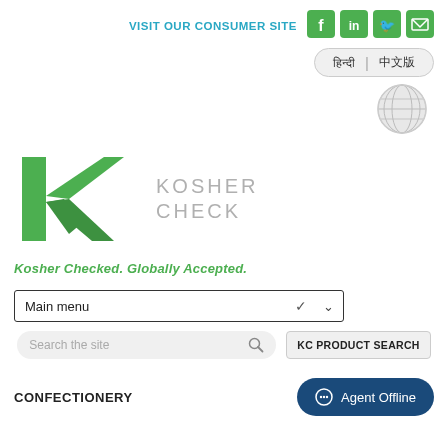VISIT OUR CONSUMER SITE
[Figure (logo): Social media icons: Facebook, LinkedIn, Twitter, Email in green boxes]
[Figure (other): Language selector pill with Hindi and Chinese options]
[Figure (illustration): Globe icon for international language selection]
[Figure (logo): Kosher Check logo: green K with checkmark and KOSHER CHECK text in grey]
Kosher Checked. Globally Accepted.
[Figure (other): Main menu dropdown selector]
[Figure (other): Search the site input and KC PRODUCT SEARCH button]
CONFECTIONERY
[Figure (other): Agent Offline chat button (dark blue pill)]